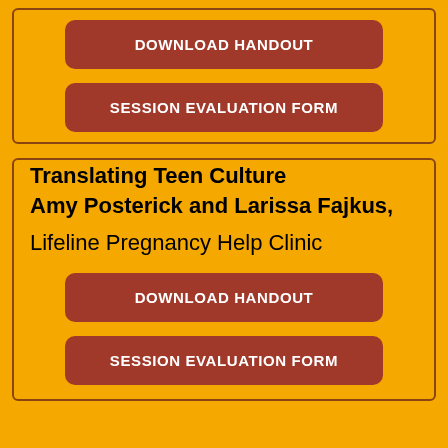DOWNLOAD HANDOUT
SESSION EVALUATION FORM
Translating Teen Culture Amy Posterick and Larissa Fajkus, Lifeline Pregnancy Help Clinic
DOWNLOAD HANDOUT
SESSION EVALUATION FORM